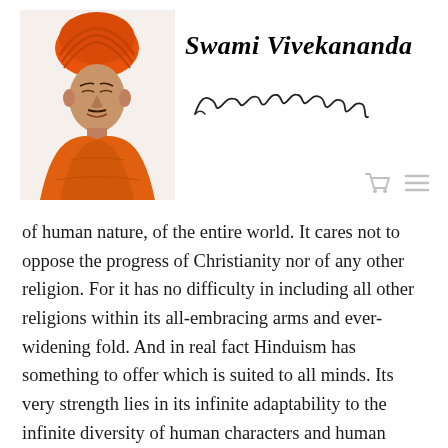[Figure (photo): Portrait of Swami Vivekananda in orange robes and turban]
Swami Vivekananda
[Figure (illustration): Handwritten signature of Swami Vivekananda in cursive script]
of human nature, of the entire world. It cares not to oppose the progress of Christianity nor of any other religion. For it has no difficulty in including all other religions within its all-embracing arms and ever-widening fold. And in real fact Hinduism has something to offer which is suited to all minds. Its very strength lies in its infinite adaptability to the infinite diversity of human characters and human tendencies. It has its highly spiritual and abstract side suited to the philosoph-ical higher classes. Its practical and concrete side suited to the man of affairs and the man of the